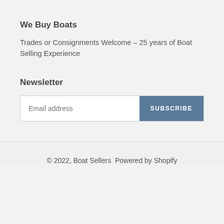We Buy Boats
Trades or Consignments Welcome – 25 years of Boat Selling Experience
Newsletter
Email address
SUBSCRIBE
© 2022, Boat Sellers  Powered by Shopify